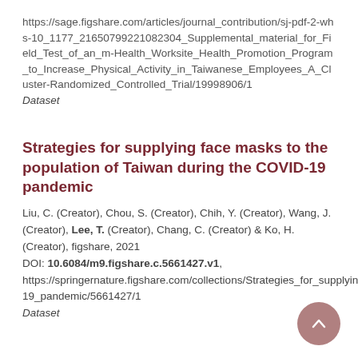https://sage.figshare.com/articles/journal_contribution/sj-pdf-2-whs-10_1177_21650799221082304_Supplemental_material_for_Field_Test_of_an_m-Health_Worksite_Health_Promotion_Program_to_Increase_Physical_Activity_in_Taiwanese_Employees_A_Cluster-Randomized_Controlled_Trial/19998906/1
Dataset
Strategies for supplying face masks to the population of Taiwan during the COVID-19 pandemic
Liu, C. (Creator), Chou, S. (Creator), Chih, Y. (Creator), Wang, J. (Creator), Lee, T. (Creator), Chang, C. (Creator) & Ko, H. (Creator), figshare, 2021
DOI: 10.6084/m9.figshare.c.5661427.v1, https://springernature.figshare.com/collections/Strategies_for_supplying_face_masks_to_the_population_of_Taiwan_during_the_COVID-19_pandemic/5661427/1
Dataset